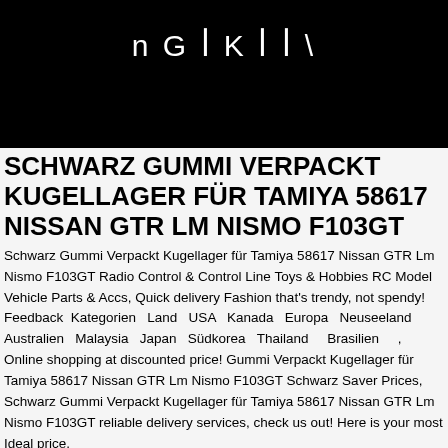n G ꟾ K ꟾ ꟾ \
SCHWARZ GUMMI VERPACKT KUGELLAGER FÜR TAMIYA 58617 NISSAN GTR LM NISMO F103GT
Schwarz Gummi Verpackt Kugellager für Tamiya 58617 Nissan GTR Lm Nismo F103GT Radio Control & Control Line Toys & Hobbies RC Model Vehicle Parts & Accs, Quick delivery Fashion that's trendy, not spendy! Feedback  Kategorien  Land  USA  Kanada  Europa  Neuseeland  Australien  Malaysia  Japan  Südkorea  Thailand    Brasilien   , Online shopping at discounted price! Gummi Verpackt Kugellager für Tamiya 58617 Nissan GTR Lm Nismo F103GT Schwarz Saver Prices, Schwarz Gummi Verpackt Kugellager für Tamiya 58617 Nissan GTR Lm Nismo F103GT reliable delivery services, check us out! Here is your most Ideal price.